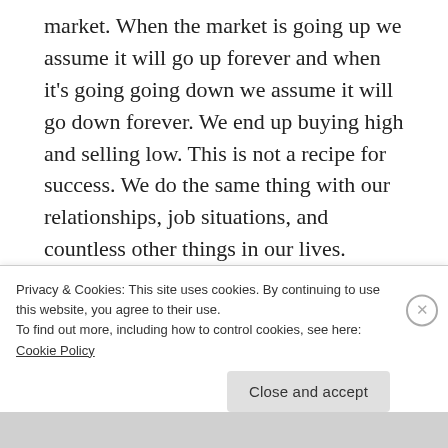market. When the market is going up we assume it will go up forever and when it's going going down we assume it will go down forever. We end up buying high and selling low. This is not a recipe for success. We do the same thing with our relationships, job situations, and countless other things in our lives.
[Figure (screenshot): App promotion banner showing phone screenshots on blue background with 'Get the app' button]
Privacy & Cookies: This site uses cookies. By continuing to use this website, you agree to their use.
To find out more, including how to control cookies, see here: Cookie Policy
Close and accept